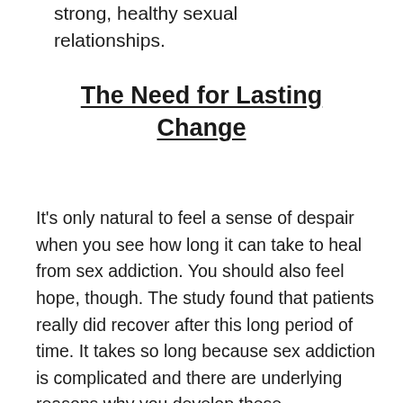strong, healthy sexual relationships.
The Need for Lasting Change
It's only natural to feel a sense of despair when you see how long it can take to heal from sex addiction. You should also feel hope, though. The study found that patients really did recover after this long period of time. It takes so long because sex addiction is complicated and there are underlying reasons why you develop these compulsions. In order to really be free of the addiction, you need to do the